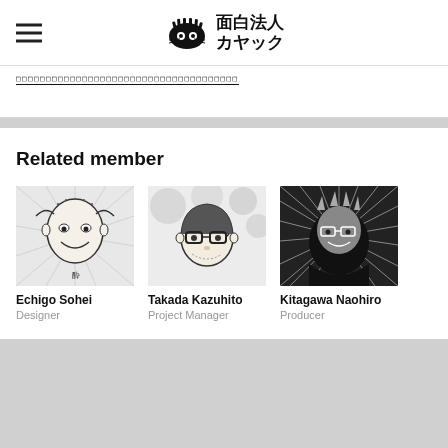面白法人カヤック
□□□□□□□□□□□□□□□□□□□□□□□□□□□□□□□□□□□□□□□□□
Related member
[Figure (illustration): Illustration portrait of Echigo Sohei, manga-style black and white drawing of a smiling bald man]
Echigo Sohei
Designer
[Figure (illustration): Illustration portrait of Takada Kazuhito, manga-style black and white drawing of a man with glasses]
Takada Kazuhito
Project Manager
[Figure (illustration): Illustration portrait of Kitagawa Naohiro, manga-style black and white drawing of a man with glasses and radiating lines]
Kitagawa Naohiro
Producer